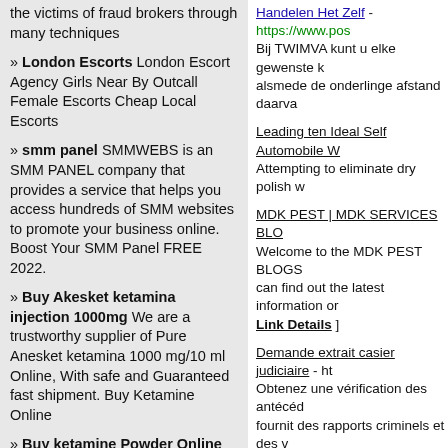the victims of fraud brokers through many techniques
» London Escorts London Escort Agency Girls Near By Outcall Female Escorts Cheap Local Escorts
» smm panel SMMWEBS is an SMM PANEL company that provides a service that helps you access hundreds of SMM websites to promote your business online. Boost Your SMM Panel FREE 2022.
» Buy Akesket ketamina injection 1000mg We are a trustworthy supplier of Pure Anesket ketamina 1000 mg/10 ml Online, With safe and Guaranteed fast shipment. Buy Ketamine Online
» Buy ketamine Powder Online Buy ketamine Hydrochloride Powder, Liquid and Crystal high purity 98.80% Secure and Discreet, Tracking # Provided. buy ketamine nasal Spray
» House Painting Brooklyn Professional painters for all your
Handelen Het Zelf - https://www.pos... Bij TWIMVA kunt u elke gewenste k... alsmede de onderlinge afstand daarva...
Leading ten Ideal Self Automobile W... Attempting to eliminate dry polish w...
MDK PEST | MDK SERVICES BLO... Welcome to the MDK PEST BLOGS... can find out the latest information or... [ Link Details ]
Demande extrait casier judiciaire - ht... Obtenez une vérification des antécéd... fournit des rapports criminels et des v... [ Link Details ]
Famous Advocates in India - https://d... Famous High Court Lawyers in Hyde... providing the perfect solutions [ Link...
High Recommendations On Getting T... title=Psychic_Reading_Clairvoyant_... California the question as well as kno... you with ambiguous answers when w... private tarot deck. Moreover these tar...
Bitcoin Buying And Selling Suggesti...